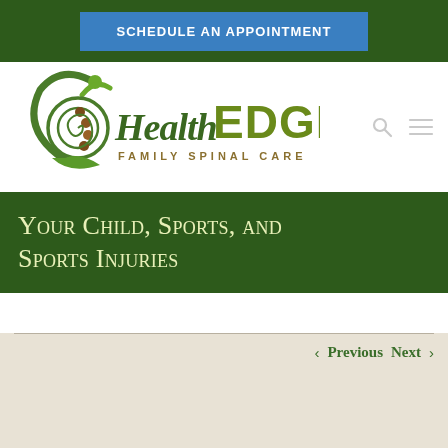SCHEDULE AN APPOINTMENT
[Figure (logo): HealthEDGE Family Spinal Care logo — stylized green spiral with figure and brown spine dots, script 'Health' in dark green, 'EDGE' in large olive/green capitals, 'FAMILY SPINAL CARE' in smaller gold text below]
Your Child, Sports, and Sports Injuries
< Previous   Next >
Your Child, Sports, and Sports Injuries